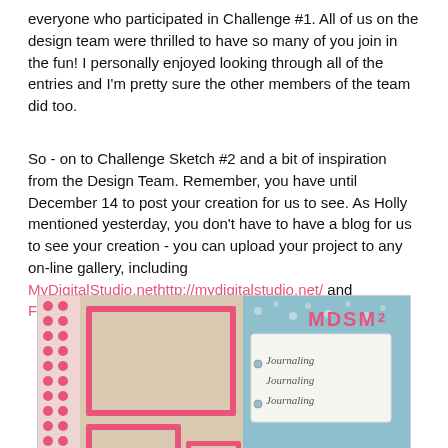everyone who participated in Challenge #1. All of us on the design team were thrilled to have so many of you join in the fun! I personally enjoyed looking through all of the entries and I'm pretty sure the other members of the team did too.
So - on to Challenge Sketch #2 and a bit of inspiration from the Design Team. Remember, you have until December 14 to post your creation for us to see. As Holly mentioned yesterday, you don't have to have a blog for us to see your creation - you can upload your project to any on-line gallery, including MyDigitalStudio.nethttp://mydigitalstudio.net/ and Facebook. Have fun this week!
[Figure (illustration): A scrapbook layout sketch labeled MDSM2 with photo placeholders framed in red/coral on a tan background, a journaling card with cursive text on blue polka-dot background, decorative borders with red flowers and geometric patterns.]